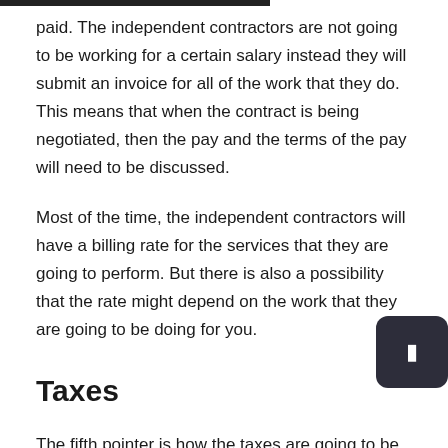paid. The independent contractors are not going to be working for a certain salary instead they will submit an invoice for all of the work that they do. This means that when the contract is being negotiated, then the pay and the terms of the pay will need to be discussed.
Most of the time, the independent contractors will have a billing rate for the services that they are going to perform. But there is also a possibility that the rate might depend on the work that they are going to be doing for you.
Taxes
The fifth pointer is how the taxes are going to be paid. When you are a client with independent contractors, then you don't have to worry about withholding any taxes on the contractors that you have engaged with. This means that the independent